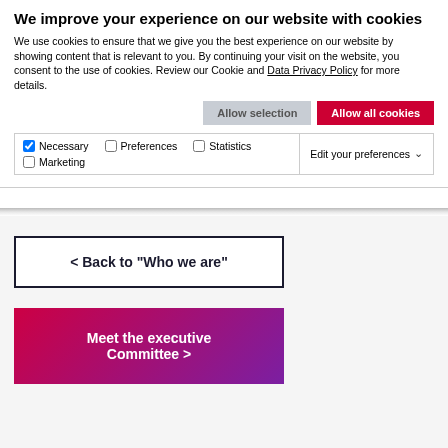We improve your experience on our website with cookies
We use cookies to ensure that we give you the best experience on our website by showing content that is relevant to you. By continuing your visit on the website, you consent to the use of cookies. Review our Cookie and Data Privacy Policy for more details.
Allow selection | Allow all cookies
Necessary | Preferences | Statistics | Marketing | Edit your preferences
< Back to "Who we are"
Meet the executive Committee >